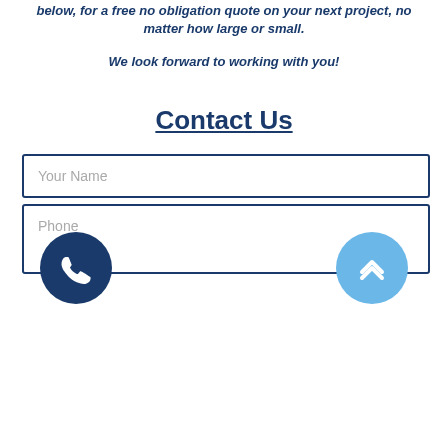below, for a free no obligation quote on your next project, no matter how large or small.
We look forward to working with you!
Contact Us
Your Name
Phone